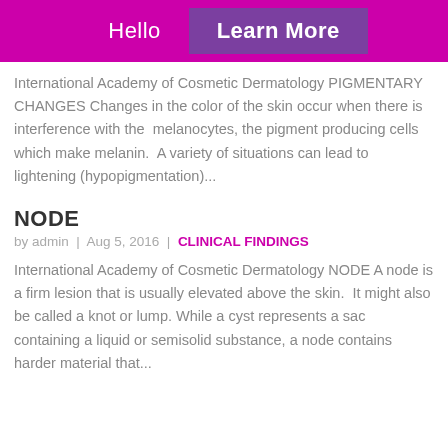Hello  Learn More
International Academy of Cosmetic Dermatology PIGMENTARY CHANGES Changes in the color of the skin occur when there is interference with the melanocytes, the pigment producing cells which make melanin. A variety of situations can lead to lightening (hypopigmentation)...
NODE
by admin | Aug 5, 2016 | CLINICAL FINDINGS
International Academy of Cosmetic Dermatology NODE A node is a firm lesion that is usually elevated above the skin. It might also be called a knot or lump. While a cyst represents a sac containing a liquid or semisolid substance, a node contains harder material that...